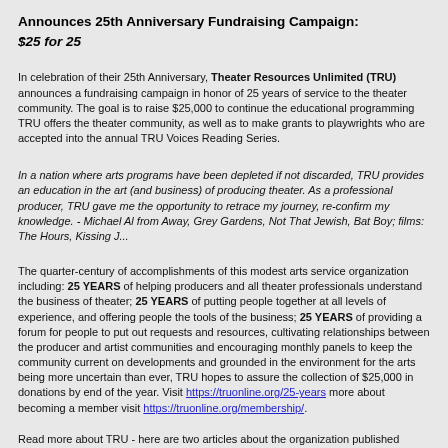Announces 25th Anniversary Fundraising Campaign:
$25 for 25
In celebration of their 25th Anniversary, Theater Resources Unlimited (TRU) announces a fundraising campaign in honor of 25 years of service to the theater community. The goal is to raise $25,000 to continue the educational programming TRU offers the theater community, as well as to make grants to playwrights who are accepted into the annual TRU Voices Reading Series.
In a nation where arts programs have been depleted if not discarded, TRU provides an education in the art (and business) of producing theater. As a professional producer, TRU gave me the opportunity to retrace my journey, re-confirm my knowledge. - Michael Al from Away, Grey Gardens, Not That Jewish, Bat Boy; films: The Hours, Kissing J...
The quarter-century of accomplishments of this modest arts service organization including: 25 YEARS of helping producers and all theater professionals understand the business of theater; 25 YEARS of putting people together at all levels of experience, and off people the tools of the business; 25 YEARS of providing a forum for people to put out requests and resources, cultivating relationships between the producer and artist communities and encouraging monthly panels to keep the community current on developments and grounded in the environment for the arts being more uncertain than ever, TRU hopes to assure the collection of $25,000 in donations by end of the year. Visit https://truonline.org/25-years more about becoming a member visit https://truonline.org/membership/.
Read more about TRU - here are two articles about the organization published